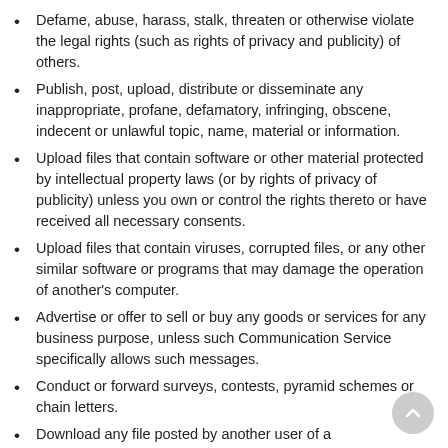Defame, abuse, harass, stalk, threaten or otherwise violate the legal rights (such as rights of privacy and publicity) of others.
Publish, post, upload, distribute or disseminate any inappropriate, profane, defamatory, infringing, obscene, indecent or unlawful topic, name, material or information.
Upload files that contain software or other material protected by intellectual property laws (or by rights of privacy of publicity) unless you own or control the rights thereto or have received all necessary consents.
Upload files that contain viruses, corrupted files, or any other similar software or programs that may damage the operation of another's computer.
Advertise or offer to sell or buy any goods or services for any business purpose, unless such Communication Service specifically allows such messages.
Conduct or forward surveys, contests, pyramid schemes or chain letters.
Download any file posted by another user of a Communication Service that you know, or reasonably should know, cannot be legally distributed in such manner.
Falsify or delete any author attributions, legal or other proper notices or proprietary designations or labels of the origin or source of software or other material contained in a file that is uploaded.